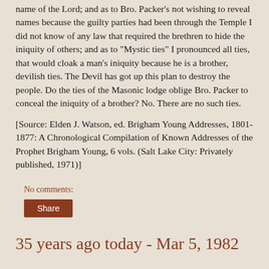name of the Lord; and as to Bro. Packer's not wishing to reveal names because the guilty parties had been through the Temple I did not know of any law that required the brethren to hide the iniquity of others; and as to "Mystic ties" I pronounced all ties, that would cloak a man's iniquity because he is a brother, devilish ties. The Devil has got up this plan to destroy the people. Do the ties of the Masonic lodge oblige Bro. Packer to conceal the iniquity of a brother? No. There are no such ties.
[Source: Elden J. Watson, ed. Brigham Young Addresses, 1801-1877: A Chronological Compilation of Known Addresses of the Prophet Brigham Young, 6 vols. (Salt Lake City: Privately published, 1971)]
No comments:
Share
35 years ago today - Mar 5, 1982